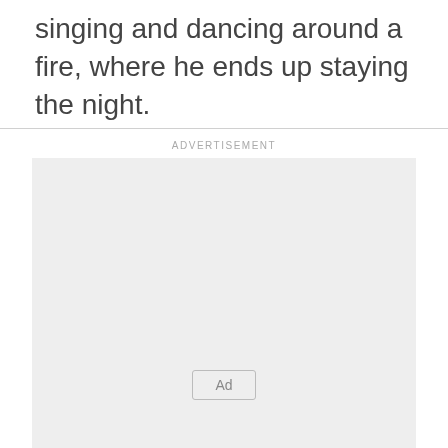singing and dancing around a fire, where he ends up staying the night.
[Figure (other): Advertisement placeholder box with 'ADVERTISEMENT' label and 'Ad' button centered near bottom]